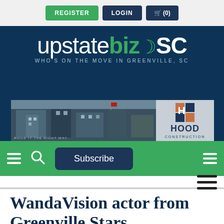REGISTER  LOGIN  🛒 (0)
[Figure (screenshot): UpstateBizSC website header banner with logo 'upstatebizSC - WHO'S ON THE MOVE IN GREENVILLE, SC' on dark blue background, with Hood Construction advertisement banner below]
[Figure (screenshot): Green navigation bar with hamburger menu, search icon, Subscribe button, and secondary hamburger icons]
WandaVision actor from Greenville Stars